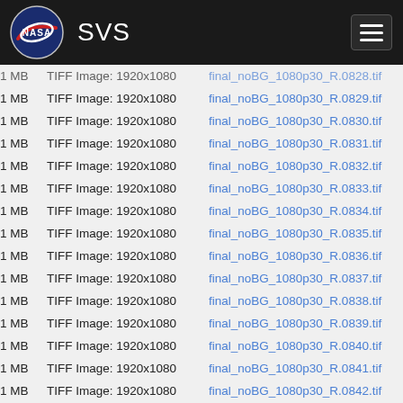NASA SVS
| Size | Type | Filename |
| --- | --- | --- |
| 1 MB | TIFF Image: 1920x1080 | final_noBG_1080p30_R.0829.tif |
| 1 MB | TIFF Image: 1920x1080 | final_noBG_1080p30_R.0830.tif |
| 1 MB | TIFF Image: 1920x1080 | final_noBG_1080p30_R.0831.tif |
| 1 MB | TIFF Image: 1920x1080 | final_noBG_1080p30_R.0832.tif |
| 1 MB | TIFF Image: 1920x1080 | final_noBG_1080p30_R.0833.tif |
| 1 MB | TIFF Image: 1920x1080 | final_noBG_1080p30_R.0834.tif |
| 1 MB | TIFF Image: 1920x1080 | final_noBG_1080p30_R.0835.tif |
| 1 MB | TIFF Image: 1920x1080 | final_noBG_1080p30_R.0836.tif |
| 1 MB | TIFF Image: 1920x1080 | final_noBG_1080p30_R.0837.tif |
| 1 MB | TIFF Image: 1920x1080 | final_noBG_1080p30_R.0838.tif |
| 1 MB | TIFF Image: 1920x1080 | final_noBG_1080p30_R.0839.tif |
| 1 MB | TIFF Image: 1920x1080 | final_noBG_1080p30_R.0840.tif |
| 1 MB | TIFF Image: 1920x1080 | final_noBG_1080p30_R.0841.tif |
| 1 MB | TIFF Image: 1920x1080 | final_noBG_1080p30_R.0842.tif |
| 1 MB | TIFF Image: 1920x1080 | final_noBG_1080p30_R.0843.tif |
| 1 MB | TIFF Image: 1920x1080 | final_noBG_1080p30_R.0844.tif |
| 1 MB | TIFF Image: 1920x1080 | final_noBG_1080p30_R.0845.tif |
| 1 MB | TIFF Image: 1920x1080 | final_noBG_1080p30_R.0846.tif |
| 1 MB | TIFF Image: 1920x1080 | final_noBG_1080p30_R.0847.tif |